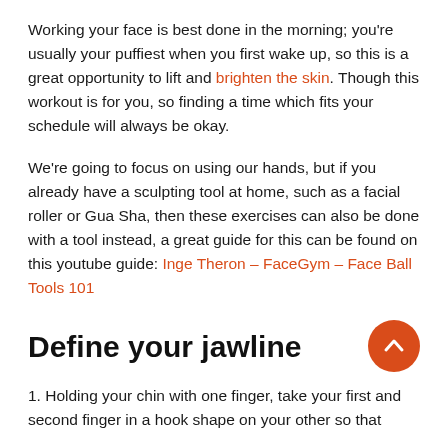Working your face is best done in the morning; you're usually your puffiest when you first wake up, so this is a great opportunity to lift and brighten the skin. Though this workout is for you, so finding a time which fits your schedule will always be okay.
We're going to focus on using our hands, but if you already have a sculpting tool at home, such as a facial roller or Gua Sha, then these exercises can also be done with a tool instead, a great guide for this can be found on this youtube guide: Inge Theron – FaceGym – Face Ball Tools 101
Define your jawline
1. Holding your chin with one finger, take your first and second finger in a hook shape on your other so that